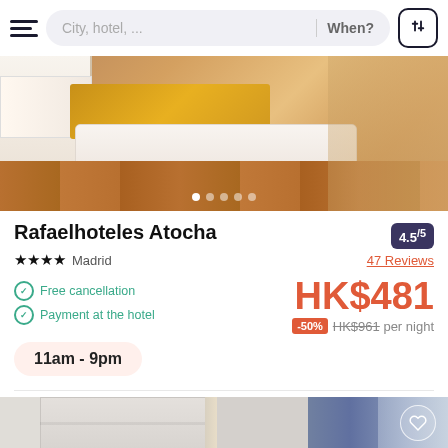City, hotel, ...  When?
[Figure (photo): Hotel room photo showing a bed with yellow/gold blanket, white pillows, and wooden floor]
Rafaelhoteles Atocha
4.5/5
★★★★  Madrid
47 Reviews
Free cancellation
Payment at the hotel
HK$481
-50%  HK$961 per night
11am - 9pm
[Figure (photo): Hotel room interior showing padded headboard, curtains, and natural light]